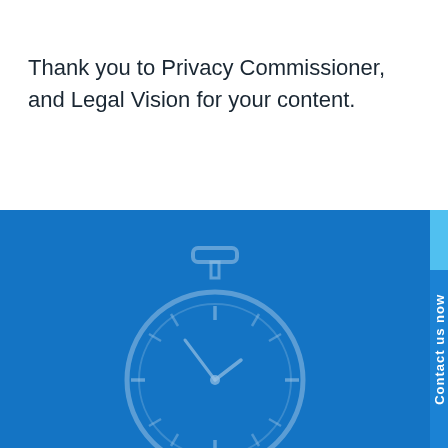Thank you to Privacy Commissioner, and Legal Vision for your content.
[Figure (illustration): Blue background section with a faint stopwatch/timer icon outline in the center, and a vertical 'Contact us now' tab on the right edge.]